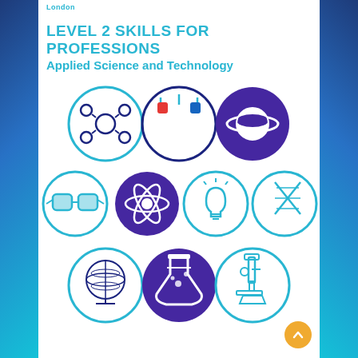London
LEVEL 2 SKILLS FOR PROFESSIONS
Applied Science and Technology
[Figure (illustration): Ten circular icons representing science and technology topics: molecule/atom network, magnet with test tubes, planet with rings (purple bg), safety goggles, atom (purple bg), lightbulb, DNA helix, globe, flask/beaker (purple bg), microscope. Arranged in three rows (3, 4, 3) with teal outlines on white and purple filled circles.]